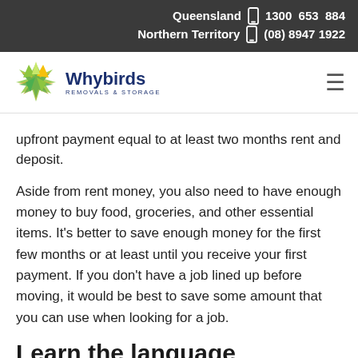Queensland 1300 653 884
Northern Territory (08) 8947 1922
[Figure (logo): Whybirds Removals & Storage logo with green/yellow star-like graphic and navy blue text]
upfront payment equal to at least two months rent and deposit.
Aside from rent money, you also need to have enough money to buy food, groceries, and other essential items. It's better to save enough money for the first few months or at least until you receive your first payment. If you don't have a job lined up before moving, it would be best to save some amount that you can use when looking for a job.
Learn the language